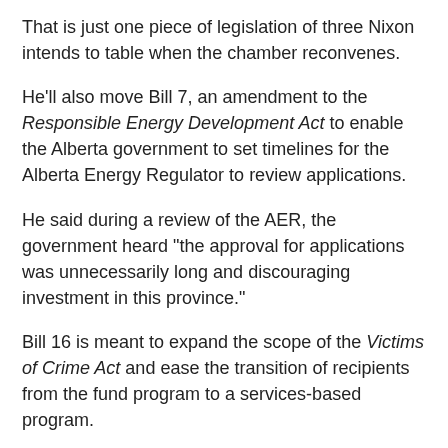That is just one piece of legislation of three Nixon intends to table when the chamber reconvenes.
He'll also move Bill 7, an amendment to the Responsible Energy Development Act to enable the Alberta government to set timelines for the Alberta Energy Regulator to review applications.
He said during a review of the AER, the government heard "the approval for applications was unnecessarily long and discouraging investment in this province."
Bill 16 is meant to expand the scope of the Victims of Crime Act and ease the transition of recipients from the fund program to a services-based program.
The government house leader said he has already put in a motion for the chamber to sit in evenings in order to pass all of the legislation the UCP promised.